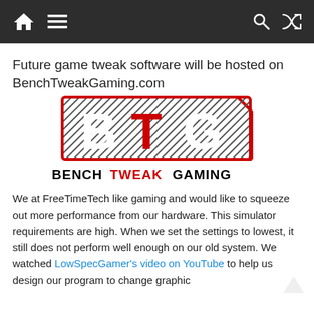Navigation bar with home icon, menu icon, search icon, shuffle icon
Future game tweak software will be hosted on BenchTweakGaming.com
[Figure (logo): BTG BenchTweakGaming logo — black diagonal-hatched background with large white letters B, T, G; T is red; red angled border lines; text below reads BENCHTWEAKGAMING with TWEAK in red]
We at FreeTimeTech like gaming and would like to squeeze out more performance from our hardware. This simulator requirements are high. When we set the settings to lowest, it still does not perform well enough on our old system. We watched LowSpecGamer's video on YouTube to help us design our program to change graphic